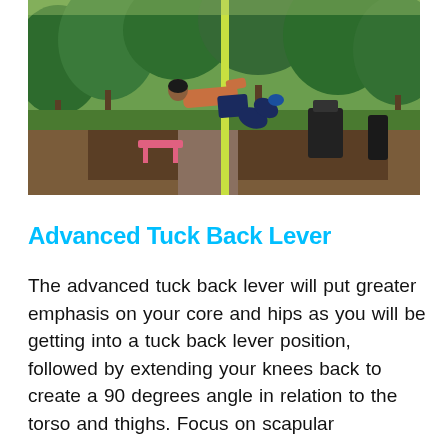[Figure (photo): A person performing an advanced tuck back lever on a vertical pole in an outdoor park gym setting. The person is shirtless and horizontal, gripping a yellow/green pole, with trees and park equipment visible in the background.]
Advanced Tuck Back Lever
The advanced tuck back lever will put greater emphasis on your core and hips as you will be getting into a tuck back lever position, followed by extending your knees back to create a 90 degrees angle in relation to the torso and thighs. Focus on scapular...